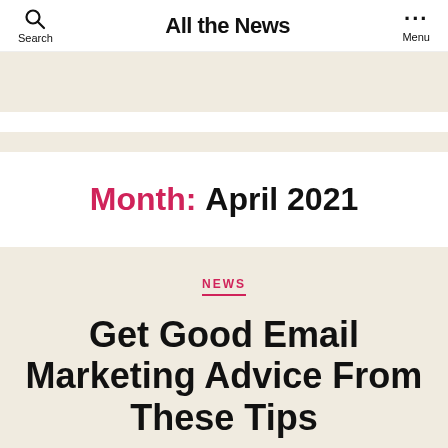Search | All the News | Menu
Month: April 2021
NEWS
Get Good Email Marketing Advice From These Tips